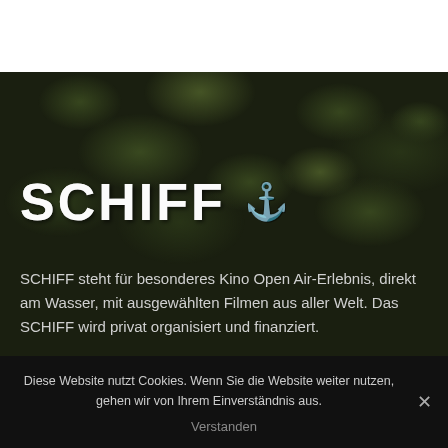SCHIFF ⚓
SCHIFF steht für besonderes Kino Open Air-Erlebnis, direkt am Wasser, mit ausgewählten Filmen aus aller Welt. Das SCHIFF wird privat organisiert und finanziert.
Programm Wiesbaden
Diese Website nutzt Cookies. Wenn Sie die Website weiter nutzen, gehen wir von Ihrem Einverständnis aus.
Verstanden